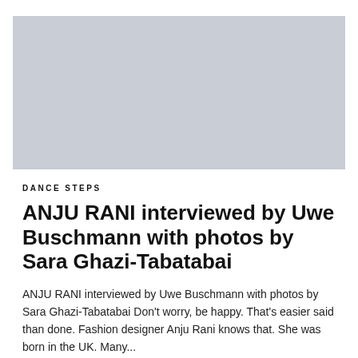[Figure (photo): Large rectangular placeholder image with light blue-grey background, representing a fashion or portrait photograph]
DANCE STEPS
ANJU RANI interviewed by Uwe Buschmann with photos by Sara Ghazi-Tabatabai
ANJU RANI interviewed by Uwe Buschmann with photos by Sara Ghazi-Tabatabai Don't worry, be happy. That's easier said than done. Fashion designer Anju Rani knows that. She was born in the UK. Many...